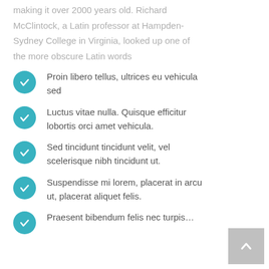making it over 2000 years old. Richard McClintock, a Latin professor at Hampden-Sydney College in Virginia, looked up one of the more obscure Latin words
Proin libero tellus, ultrices eu vehicula sed
Luctus vitae nulla. Quisque efficitur lobortis orci amet vehicula.
Sed tincidunt tincidunt velit, vel scelerisque nibh tincidunt ut.
Suspendisse mi lorem, placerat in arcu ut, placerat aliquet felis.
Praesent bibendum felis nec turpis…